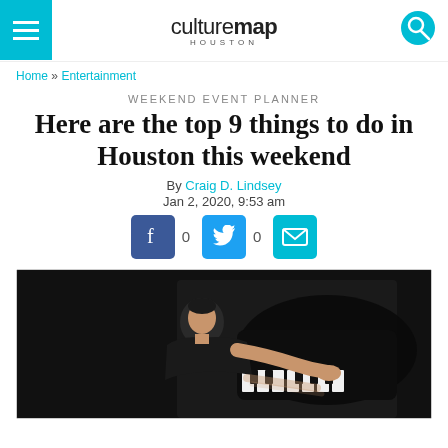culturemap HOUSTON
Home » Entertainment
WEEKEND EVENT PLANNER
Here are the top 9 things to do in Houston this weekend
By Craig D. Lindsey
Jan 2, 2020, 9:53 am
[Figure (infographic): Social share buttons: Facebook (0), Twitter (0), Email]
[Figure (photo): A man in a black t-shirt leaning over and playing a grand piano dramatically, against a dark background]